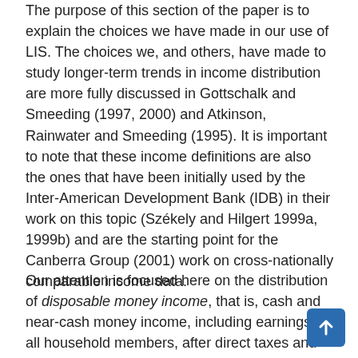The purpose of this section of the paper is to explain the choices we have made in our use of LIS. The choices we, and others, have made to study longer-term trends in income distribution are more fully discussed in Gottschalk and Smeeding (1997, 2000) and Atkinson, Rainwater and Smeeding (1995). It is important to note that these income definitions are also the ones that have been initially used by the Inter-American Development Bank (IDB) in their work on this topic (Székely and Hilgert 1999a, 1999b) and are the starting point for the Canberra Group (2001) work on cross-nationally comparable income data.
Our attention is focused here on the distribution of disposable money income, that is, cash and near-cash money income, including earnings of all household members, after direct taxes and including transfer payments. Several points should be noted about this choice: